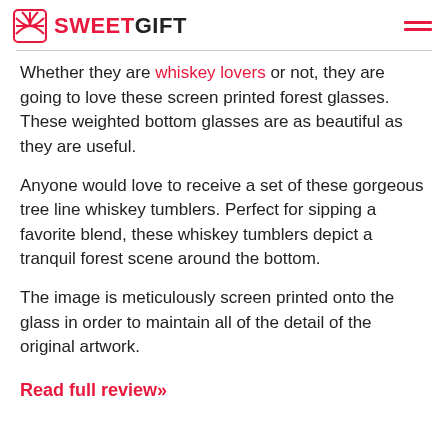SWEETGIFT
Whether they are whiskey lovers or not, they are going to love these screen printed forest glasses. These weighted bottom glasses are as beautiful as they are useful.
Anyone would love to receive a set of these gorgeous tree line whiskey tumblers. Perfect for sipping a favorite blend, these whiskey tumblers depict a tranquil forest scene around the bottom.
The image is meticulously screen printed onto the glass in order to maintain all of the detail of the original artwork.
Read full review»